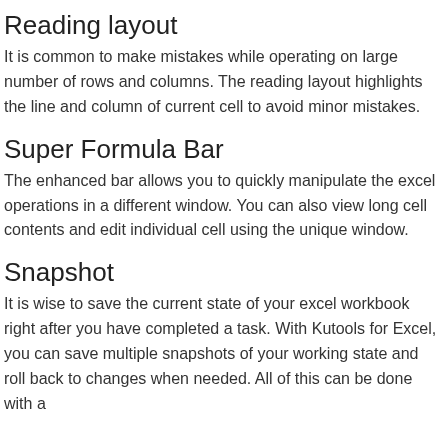Reading layout
It is common to make mistakes while operating on large number of rows and columns. The reading layout highlights the line and column of current cell to avoid minor mistakes.
Super Formula Bar
The enhanced bar allows you to quickly manipulate the excel operations in a different window. You can also view long cell contents and edit individual cell using the unique window.
Snapshot
It is wise to save the current state of your excel workbook right after you have completed a task. With Kutools for Excel, you can save multiple snapshots of your working state and roll back to changes when needed. All of this can be done with a